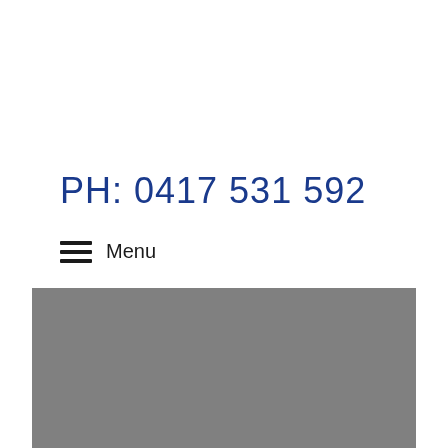PH: 0417 531 592
Menu
[Figure (other): Gray rectangular block filling bottom portion of page]